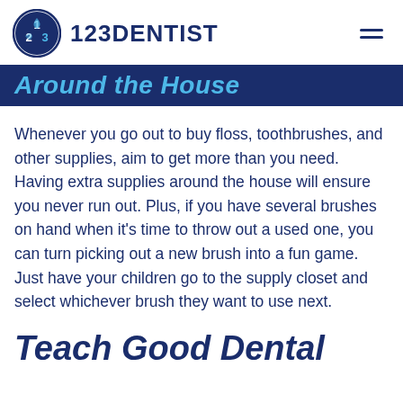123DENTIST
Around the House
Whenever you go out to buy floss, toothbrushes, and other supplies, aim to get more than you need. Having extra supplies around the house will ensure you never run out. Plus, if you have several brushes on hand when it’s time to throw out a used one, you can turn picking out a new brush into a fun game. Just have your children go to the supply closet and select whichever brush they want to use next.
Teach Good Dental